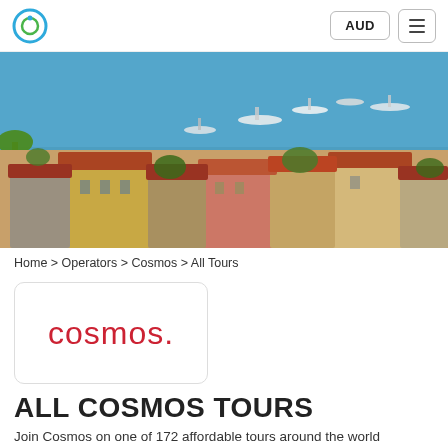AUD | menu
[Figure (photo): Aerial view of a Mediterranean coastal town with terracotta-roofed stone buildings, blue sea, and boats in the harbour.]
Home > Operators > Cosmos > All Tours
[Figure (logo): Cosmos logo — lowercase red letters spelling 'cosmos.' in a white rounded-rectangle card.]
ALL COSMOS TOURS
Join Cosmos on one of 172 affordable tours around the world